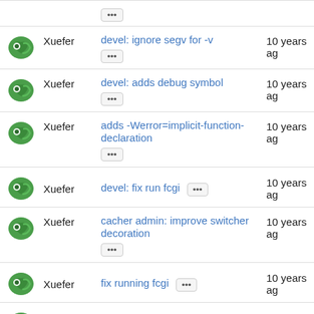Xuefer | devel: ignore segv for -v | 10 years ago
Xuefer | devel: adds debug symbol | 10 years ago
Xuefer | adds -Werror=implicit-function-declaration | 10 years ago
Xuefer | devel: fix run fcgi | 10 years ago
Xuefer | cacher admin: improve switcher decoration | 10 years ago
Xuefer | fix running fcgi | 10 years ago
Xuefer | updated deps header | 10 years ago